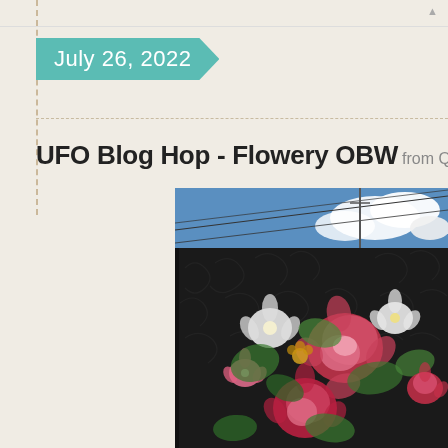July 26, 2022
UFO Blog Hop - Flowery OBW from Quilte
[Figure (photo): A large decorative quilt hung outside on a building wall, featuring intricate dark black background with dense floral motifs — large pink peonies, white flowers, green leaves — displayed against a blue sky with clouds and green trees visible in the background.]